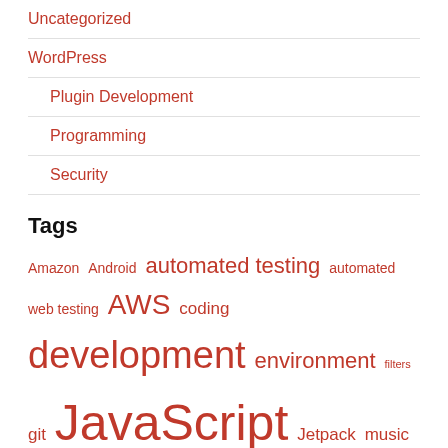Uncategorized
WordPress
Plugin Development
Programming
Security
Tags
Amazon Android automated testing automated web testing AWS coding development environment filters git JavaScript Jetpack music mysql nginx Node NodeJS performance PHP phpStorm plugin development plugins programming QA Quality Assurance REST royalties Safari security Selenium Selenium IDE streaming Technology Tesla tesla referral code testing UX Vagrant virtual machines Vue VVV Web Automation WordPress